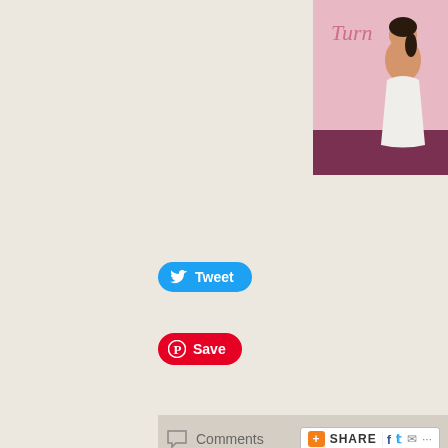[Figure (illustration): Fashion illustration of a woman in a white dress on a pink background with cursive text 'Turn']
Tweet
Save
Comments
SHARE
Comments (66)
Sort by: Date  Rating  Last Activity
Monica · 120p · 541 weeks ago
wah RM1 for the whole chicken!? 😵
My recent post Easter Nail Art Designs
Reply  ▶ 3 replies · active 541 weeks ago